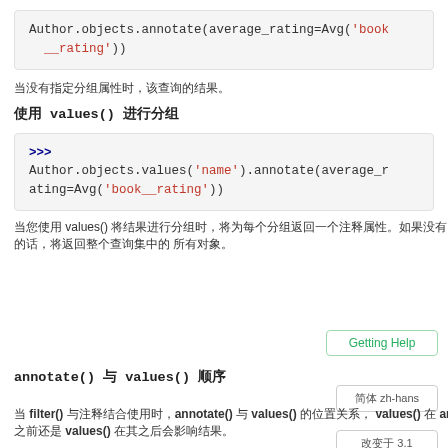[Figure (screenshot): Code block showing: Author.objects.annotate(average_rating=Avg('book__rating'))]
（简体中文字符行）
使用 values() 进行分组
[Figure (screenshot): Code block with prompt >>> and: Author.objects.values('name').annotate(average_rating=Avg('book__rating'))]
（简体中文段落文字）
annotate() 与 values() 顺序
当 filter() 与注释结合使用时，annotate() 与 values() 的位置关系，values() 在 annotate() 之前还是 values() 在其之后会影响结果。